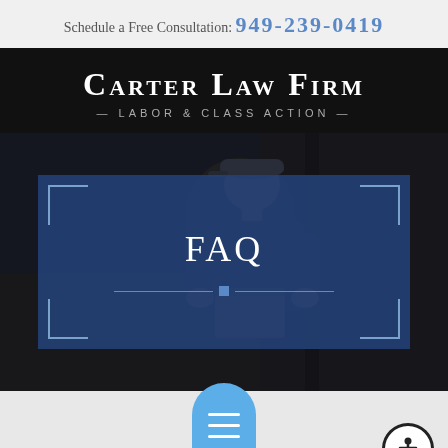Schedule a Free Consultation: 949-239-0419
Carter Law Firm — Labor & Class Action
FAQ
[Figure (illustration): Dark background image of a worker wearing a cap, with a blue semi-transparent FAQ overlay box featuring corner decorations and a divider line with a blue square.]